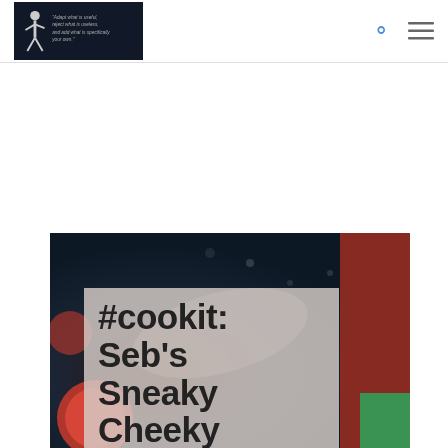Blog/website header with logo showing a figure and quote: "Adapt what is useful, reject what is useless, and add what is specifically your own." with search and menu icons
[Figure (photo): Dark food photography hero image with tomatoes and sauce on a dark blue/navy background, partially visible]
#cookit: Seb's Sneaky Cheeky